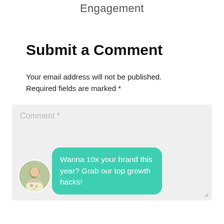Engagement
Submit a Comment
Your email address will not be published. Required fields are marked *
[Figure (screenshot): Comment textarea input box with placeholder text 'Comment *', a circular avatar photo of a person, and a teal chat bubble overlay reading 'Wanna 10x your brand this year? Grab our top growth hacks!']